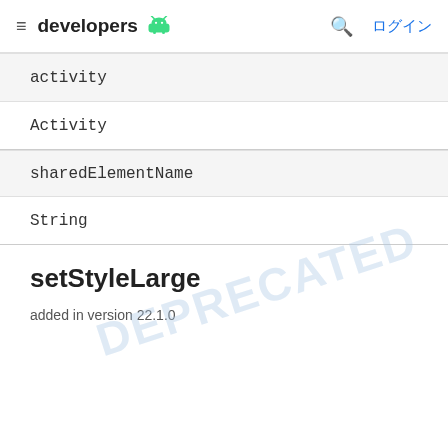developers  ログイン
| activity |
| Activity |
| sharedElementName |
| String |
setStyleLarge
added in version 22.1.0